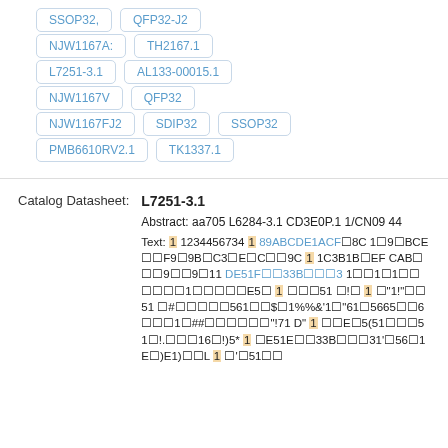SSOP32,
QFP32-J2
NJW1167A:
TH2167.1
L7251-3.1
AL133-00015.1
NJW1167V
QFP32
NJW1167FJ2
SDIP32
SSOP32
PMB6610RV2.1
TK1337.1
Catalog Datasheet:
L7251-3.1
Abstract: aa705 L6284-3.1 CD3E0P.1 1/CN0944
Text: 1 1234456734 1 89ABCDE1ACF■8C 1■9■BCE■■F9■9B■C3■E■C■■9C 1 1C3B1B■EF CAB■■■9■■9 11 DE51F■■33B■■■3 1■1■1■■■■■1■■■■E5■ 1 ■■■51 ■!■ 1 ■"1!"■■51 ■#■■■■561■■$■1%%&'1■"61■5665■■6■■■1■##■■■■■"!71 D" 1 ■■E■5(51■■■51■!.■■■16■!)5* 1 ■E51E■■33B■■■31'■56■1 E■)E1)■■L 1 ■'■51■■